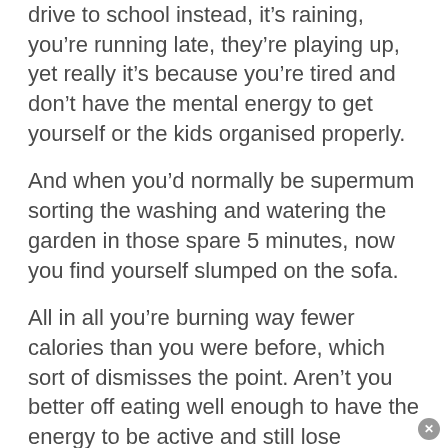drive to school instead, it's raining, you're running late, they're playing up, yet really it's because you're tired and don't have the mental energy to get yourself or the kids organised properly.
And when you'd normally be supermum sorting the washing and watering the garden in those spare 5 minutes, now you find yourself slumped on the sofa.
All in all you're burning way fewer calories than you were before, which sort of dismisses the point. Aren't you better off eating well enough to have the energy to be active and still lose weight? A less aggressive middle ground?
A more detrimental issue is muscle loss. That muscle that burns calories and makes you look toned is being used for